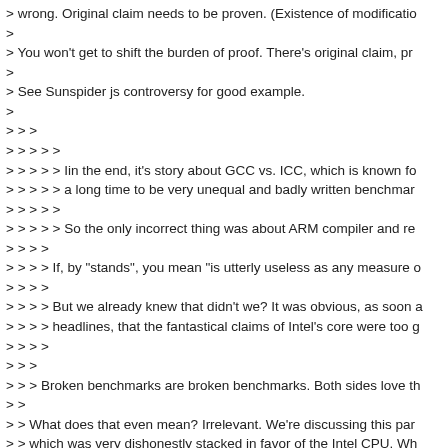> wrong. Original claim needs to be proven. (Existence of modificatio
>
> You won't get to shift the burden of proof. There's original claim, pr
>
> See Sunspider js controversy for good example.
>
> > >
> > > > >
> > > > > Iin the end, it's story about GCC vs. ICC, which is known fo
> > > > > a long time to be very unequal and badly written benchmar
> > > > >
> > > > > So the only incorrect thing was about ARM compiler and re
> > > >
> > > > If, by "stands", you mean "is utterly useless as any measure o
> > > >
> > > > But we already knew that didn't we? It was obvious, as soon a
> > > > headlines, that the fantastical claims of Intel's core were too g
> > > >
> > >
> > > Broken benchmarks are broken benchmarks. Both sides love th
> >
> > What does that even mean? Irrelevant. We're discussing this par
> > which was very dishonestly stacked in favor of the Intel CPU. Wh
> > any other companies do something similar, has no bearing on tha
>
> Not so.
I really don't know what you're talking about then. Your initial post wa
This is the claim I was referring to.